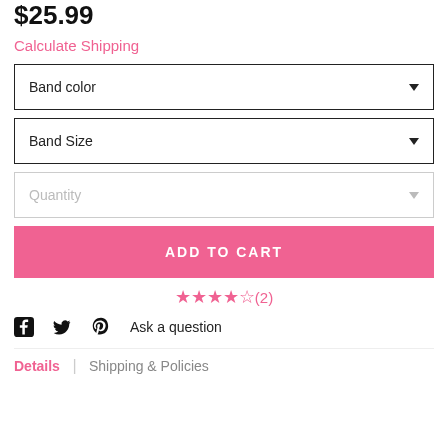$25.99
Calculate Shipping
Band color
Band Size
Quantity
ADD TO CART
★★★★☆(2)
Ask a question
Details   Shipping & Policies